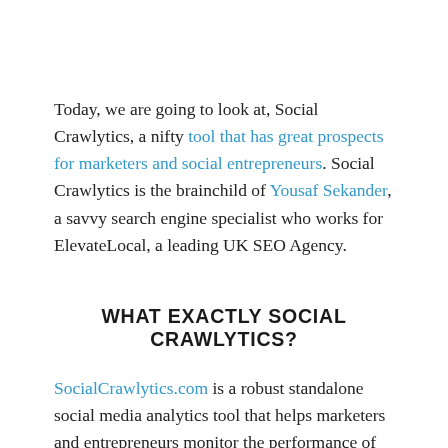Today, we are going to look at, Social Crawlytics, a nifty tool that has great prospects for marketers and social entrepreneurs. Social Crawlytics is the brainchild of Yousaf Sekander, a savvy search engine specialist who works for ElevateLocal, a leading UK SEO Agency.
WHAT EXACTLY SOCIAL CRAWLYTICS?
SocialCrawlytics.com is a robust standalone social media analytics tool that helps marketers and entrepreneurs monitor the performance of their URL links across social media channels. This tool helps marketers measure the effectiveness of the links as people share them in social media networks. Unlike other tools that monitor social reach